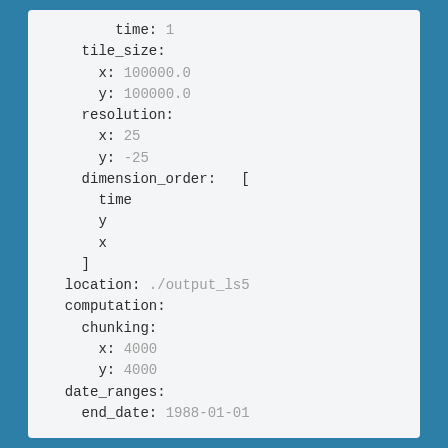time: 1
tile_size:
  x: 100000.0
  y: 100000.0
resolution:
  x: 25
  y: -25
dimension_order:  [
  time
  y
  x
]
location: ./output_ls5
computation:
  chunking:
    x: 4000
    y: 4000
date_ranges:
  end_date: 1988-01-01